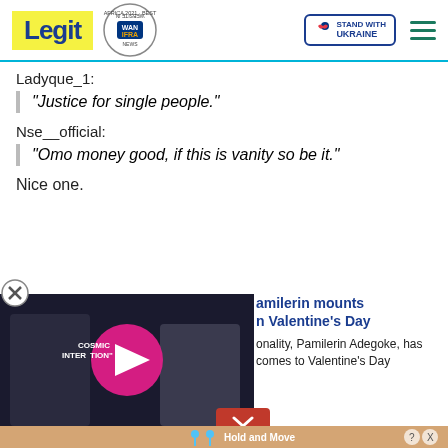Legit | WAN IFRA Best News Website in Africa 2021 | Stand with Ukraine
Ladyque_1:
“Justice for single people.”
Nse__official:
“Omo money good, if this is vanity so be it.”
Nice one.
[Figure (screenshot): Video player overlay showing two people, with pink play button and text 'COSMIC INTERVENTION'. Adjacent text reads 'amilerin mounts n Valentine’s Day' and 'onality, Pamilerin Adegoke, has comes to Valentine’s Day']
[Figure (screenshot): Advertisement bar at bottom showing 'Hold and Move' with cartoon figures, with question mark and close button icons]